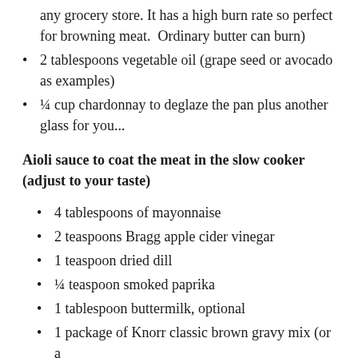any grocery store. It has a high burn rate so perfect for browning meat. Ordinary butter can burn)
2 tablespoons vegetable oil (grape seed or avocado as examples)
¼ cup chardonnay to deglaze the pan plus another glass for you...
Aioli sauce to coat the meat in the slow cooker (adjust to your taste)
4 tablespoons of mayonnaise
2 teaspoons Bragg apple cider vinegar
1 teaspoon dried dill
¼ teaspoon smoked paprika
1 tablespoon buttermilk, optional
1 package of Knorr classic brown gravy mix (or a